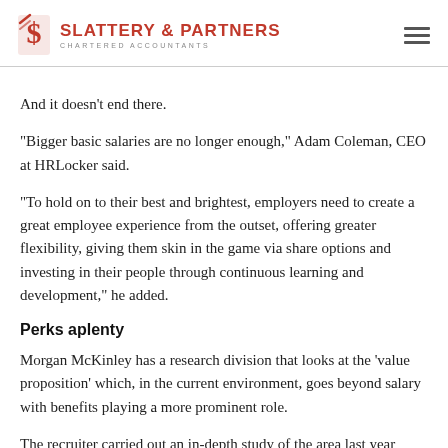SLATTERY & PARTNERS CHARTERED ACCOUNTANTS
And it doesn't end there.
“Bigger basic salaries are no longer enough,” Adam Coleman, CEO at HRLocker said.
“To hold on to their best and brightest, employers need to create a great employee experience from the outset, offering greater flexibility, giving them skin in the game via share options and investing in their people through continuous learning and development,” he added.
Perks aplenty
Morgan McKinley has a research division that looks at the ‘value proposition’ which, in the current environment, goes beyond salary with benefits playing a more prominent role.
The recruiter carried out an in-depth study of the area last year